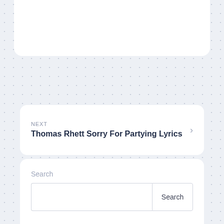NEXT
Thomas Rhett Sorry For Partying Lyrics
PREVIOUS
Thomas Rhett Renegades Lyrics
Search